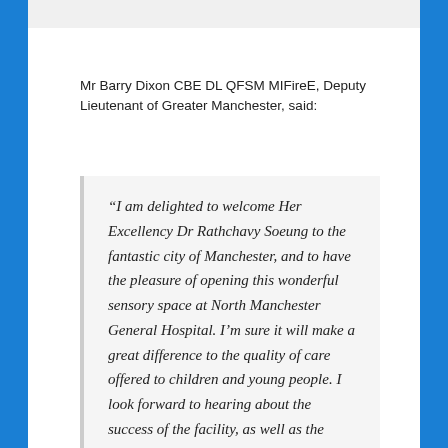Mr Barry Dixon CBE DL QFSM MIFireE, Deputy Lieutenant of Greater Manchester, said:
“I am delighted to welcome Her Excellency Dr Rathchavy Soeung to the fantastic city of Manchester, and to have the pleasure of opening this wonderful sensory space at North Manchester General Hospital. I’m sure it will make a great difference to the quality of care offered to children and young people. I look forward to hearing about the success of the facility, as well as the forthcoming opening of the sensory space in Cambodia.”